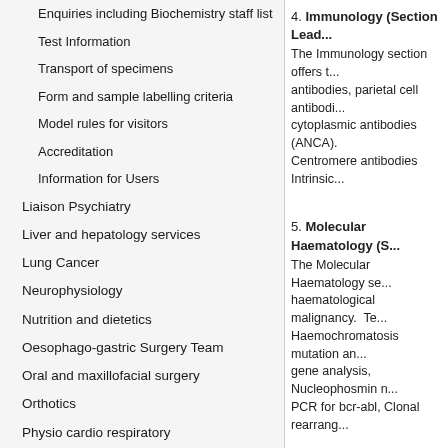Enquiries including Biochemistry staff list
Test Information
Transport of specimens
Form and sample labelling criteria
Model rules for visitors
Accreditation
Information for Users
Liaison Psychiatry
Liver and hepatology services
Lung Cancer
Neurophysiology
Nutrition and dietetics
Oesophago-gastric Surgery Team
Oral and maxillofacial surgery
Orthotics
Physio cardio respiratory
Physio critical care
Physio musculoskeletal
4. Immunology (Section Lead...)
The Immunology section offers ... antibodies, parietal cell antibodi... cytoplasmic antibodies (ANCA)... Centromere antibodies Intrinsic...
5. Molecular Haematology (S...
The Molecular Haematology se... haematological malignancy. Te... Haemochromatosis mutation an... gene analysis, Nucleophosmin ... PCR for bcr-abl, Clonal rearrang...
6. Flow Cytometry Section (S...
The Flow Cytometry section off... Residual Disease assays for Ac... haemorrhage quantitation and P...
Out of Hours Sevice